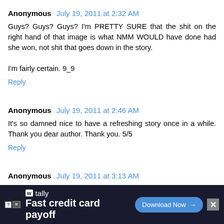Anonymous July 19, 2011 at 2:32 AM
Guys? Guys? Guys? I'm PRETTY SURE that the shit on the right hand of that image is what NMM WOULD have done had she won, not shit that goes down in the story.

I'm fairly certain. 9_9
Reply
Anonymous July 19, 2011 at 2:46 AM
It's so damned nice to have a refreshing story once in a while. Thank you dear author. Thank you. 5/5
Reply
Anonymous July 19, 2011 at 3:13 AM
Man, that is a pretty wicked image!
Also, Nyx and Applebloom putting on puppy faces? I...
[Figure (screenshot): Advertisement banner for tally - Fast credit card payoff with Download Now button]